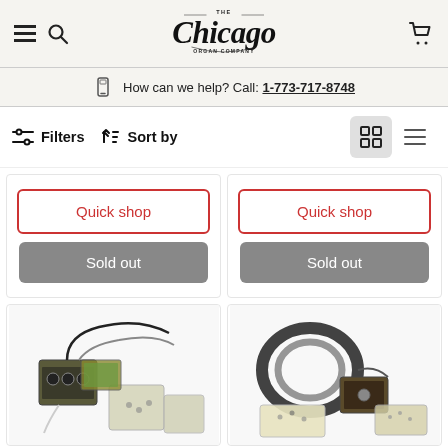The Chicago Organ Company — navigation header with hamburger menu, search, logo, and cart
How can we help?  Call: 1-773-717-8748
Filters  Sort by  (grid/list view toggle)
[Figure (screenshot): Quick shop and Sold out buttons for product card 1]
[Figure (screenshot): Quick shop and Sold out buttons for product card 2]
[Figure (photo): Organ electronic kit with control box, wiring, and small parts bags]
[Figure (photo): Organ electronic kit with cable coil, transformer, and hardware bags]